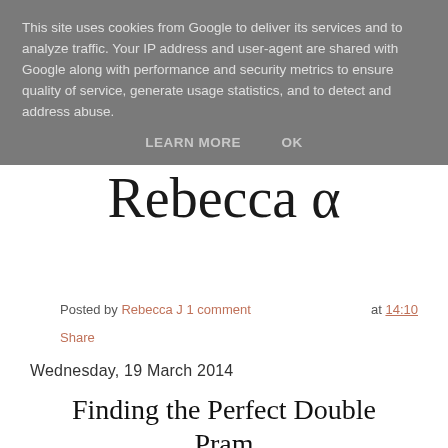This site uses cookies from Google to deliver its services and to analyze traffic. Your IP address and user-agent are shared with Google along with performance and security metrics to ensure quality of service, generate usage statistics, and to detect and address abuse.
LEARN MORE   OK
[Figure (illustration): Cursive/handwritten style blog name logo reading 'Rebecca α']
Posted by Rebecca J 1 comment   at 14:10
Share
Wednesday, 19 March 2014
Finding the Perfect Double Pram